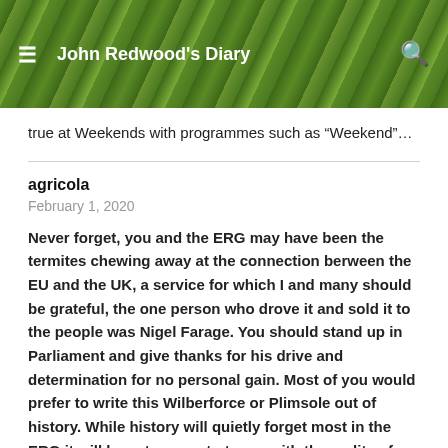John Redwood's Diary
true at Weekends with programmes such as “Weekend”…
agricola
February 1, 2020
Never forget, you and the ERG may have been the termites chewing away at the connection berween the EU and the UK, a service for which I and many should be grateful, the one person who drove it and sold it to the people was Nigel Farage. You should stand up in Parliament and give thanks for his drive and determination for no personal gain. Most of you would prefer to write this Wilberforce or Plimsole out of history. While history will quietly forget most in the ERG it will have to come to terms with the reality of Nigel Farage.